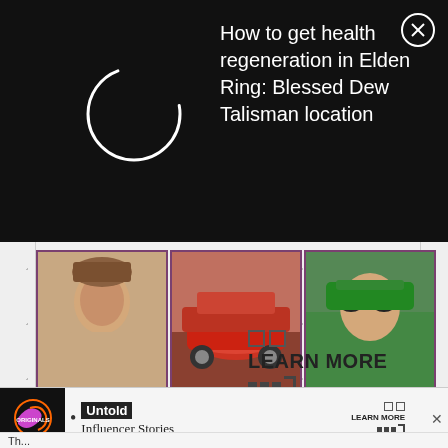How to get health regeneration in Elden Ring: Blessed Dew Talisman location
[Figure (photo): Notification popup with loading circle icon on left and article title text on right, on black background]
[Figure (photo): Grid of 5 thumbnail photos: man with styled hair, red sports car, man with sunglasses outdoors, man in black shirt at gym, man's face close-up]
LEARN MORE
[Figure (infographic): Bottom advertisement banner for Untold Originals - Influencer Stories with LEARN MORE button and close X]
Th...